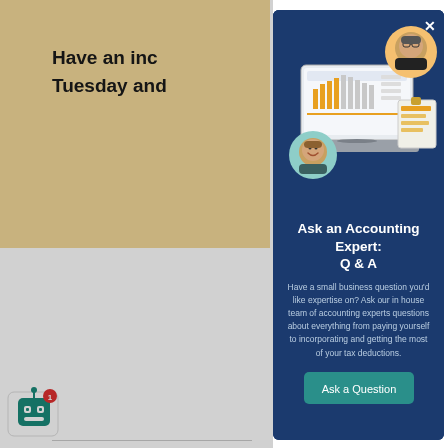Have an inc Tuesday and
© Bench 2011-2
Terms of Servic
Privacy Policy
Terms of Use
e Policy
Security Practi
[Figure (illustration): Modal dialog with dark navy background showing a laptop with accounting dashboard, two circular avatar photos of people, and a clipboard with documents]
Ask an Accounting Expert: Q & A
Have a small business question you'd like expertise on? Ask our in house team of accounting experts questions about everything from paying yourself to incorporating and getting the most of your tax deductions.
[Figure (other): Ask a Question button (teal/green)]